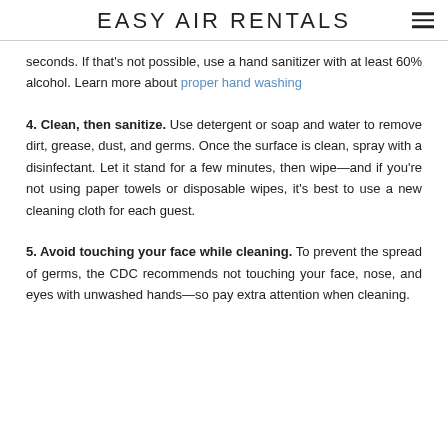EASY AIR RENTALS
seconds. If that's not possible, use a hand sanitizer with at least 60% alcohol. Learn more about proper hand washing
4. Clean, then sanitize. Use detergent or soap and water to remove dirt, grease, dust, and germs. Once the surface is clean, spray with a disinfectant. Let it stand for a few minutes, then wipe—and if you're not using paper towels or disposable wipes, it's best to use a new cleaning cloth for each guest.
5. Avoid touching your face while cleaning. To prevent the spread of germs, the CDC recommends not touching your face, nose, and eyes with unwashed hands—so pay extra attention when cleaning.